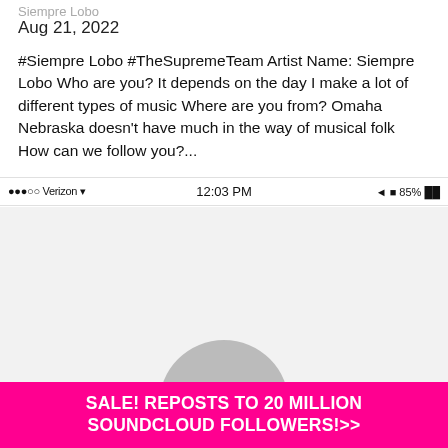Siempre Lobo
Aug 21, 2022
#Siempre Lobo #TheSupremeTeam Artist Name: Siempre Lobo Who are you? It depends on the day I make a lot of different types of music Where are you from? Omaha Nebraska doesn't have much in the way of musical folk How can we follow you?...
[Figure (screenshot): Mobile phone status bar showing Verizon carrier, 12:03 PM time, and 85% battery]
[Figure (screenshot): Mobile app interface showing a chevron/down arrow button on a light gray background with a partial profile picture arc at the bottom]
SALE! REPOSTS TO 20 MILLION SOUNDCLOUD FOLLOWERS!>>